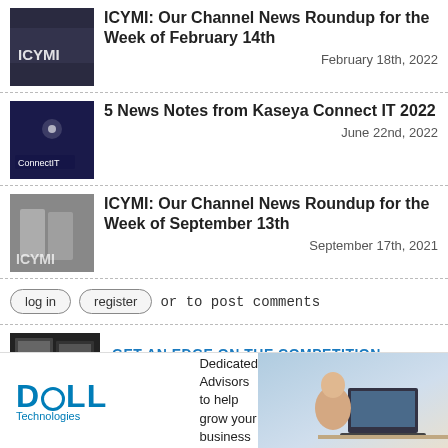ICYMI: Our Channel News Roundup for the Week of February 14th
February 18th, 2022
5 News Notes from Kaseya Connect IT 2022
June 22nd, 2022
ICYMI: Our Channel News Roundup for the Week of September 13th
September 17th, 2021
log in  register  or to post comments
GET AN EDGE ON THE COMPETITION
With each issue packed full
Dedicated Advisors to help grow your business